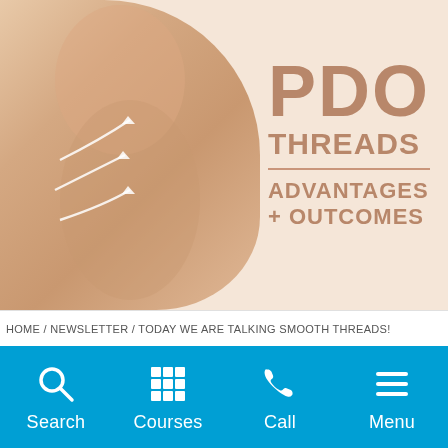[Figure (illustration): Woman touching her chin/jaw area from side profile view against peach/cream background with PDO Threads Advantages + Outcomes text overlay. White arrow lines showing thread lift directions on neck and jaw.]
HOME / NEWSLETTER / TODAY WE ARE TALKING SMOOTH THREADS!
[Figure (infographic): Blue navigation bar with four icons and labels: Search (magnifying glass icon), Courses (grid/apps icon), Call (phone icon), Menu (hamburger/lines icon)]